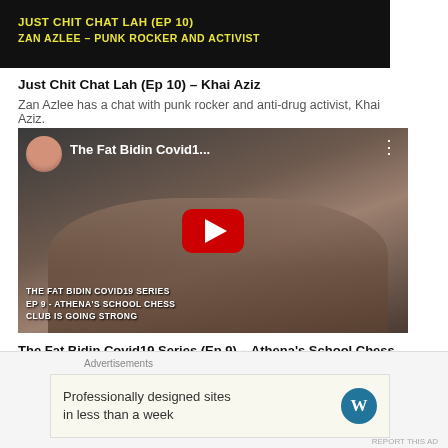[Figure (screenshot): Dark video thumbnail with yellow text: JUST CHIT CHAT LAH (EP 10) and subtitle text below]
Just Chit Chat Lah (Ep 10) – Khai Aziz
Zan Azlee has a chat with punk rocker and anti-drug activist, Khai Aziz.
[Figure (screenshot): YouTube video thumbnail titled 'The Fat Bidin Covid1...' showing a person lying down, with a red play button in the center, and bottom text: THE FAT BIDIN COVID19 SERIES EP 9 - ATHENA'S SCHOOL CHESS CLUB IS GOING STRONG]
The Fat Bidin Covid19 Series (Ep 9) – Athena's School Chess Club Is Going Strong!
What is all this hulabaloo about e-learning? How are schools handling the MCO?
Advertisements
Professionally designed sites in less than a week